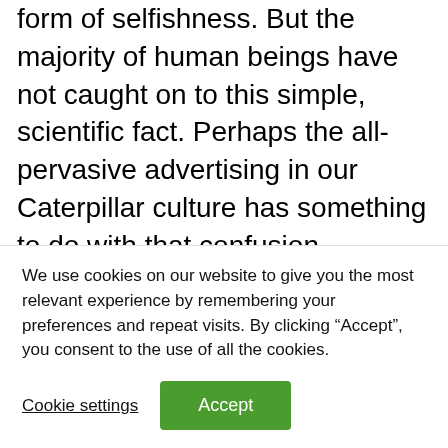form of selfishness. But the majority of human beings have not caught on to this simple, scientific fact. Perhaps the all-pervasive advertising in our Caterpillar culture has something to do with that confusion. Manufacturers routinely tout the consumption of their products as the very epitome of happiness! From a biological standpoint, we don't have fertility...
We use cookies on our website to give you the most relevant experience by remembering your preferences and repeat visits. By clicking “Accept”, you consent to the use of all the cookies.
Cookie settings
Accept